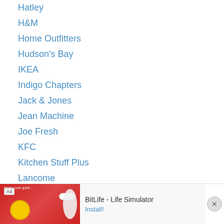Hatley
H&M
Home Outfitters
Hudson's Bay
IKEA
Indigo Chapters
Jack & Jones
Jean Machine
Joe Fresh
KFC
Kitchen Stuff Plus
Lancome
La Senza
Le Chateau
Lego Shop
Lids
Loblaws
L'Occitane En Provence
Lululemon
MAC Cosmetics
Mark's
[Figure (screenshot): Advertisement banner for BitLife - Life Simulator app with red background and install button]